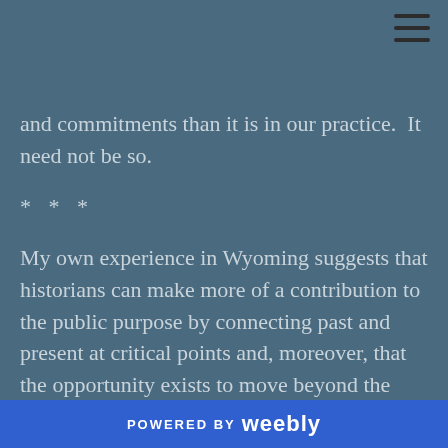[Figure (other): Hamburger menu icon (three horizontal lines) in top-right corner]
and commitments than it is in our practice.  It need not be so.
* * *
My own experience in Wyoming suggests that historians can make more of a contribution to the public purpose by connecting past and present at critical points and, moreover, that the opportunity exists to move beyond the traditional classroom to address a broader range of audiences.  Or, to put these points together, we can bring history to bear on public issues in the public
POWERED BY weebly